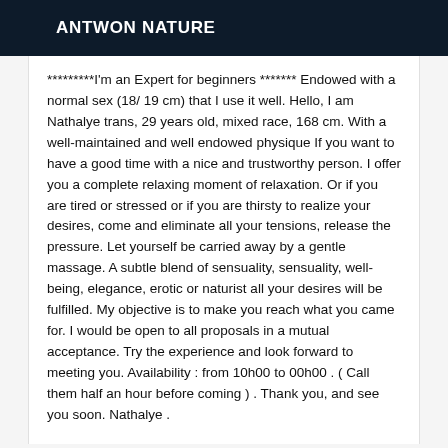ANTWON NATURE
*********I'm an Expert for beginners ******* Endowed with a normal sex (18/ 19 cm) that I use it well. Hello, I am Nathalye trans, 29 years old, mixed race, 168 cm. With a well-maintained and well endowed physique If you want to have a good time with a nice and trustworthy person. I offer you a complete relaxing moment of relaxation. Or if you are tired or stressed or if you are thirsty to realize your desires, come and eliminate all your tensions, release the pressure. Let yourself be carried away by a gentle massage. A subtle blend of sensuality, sensuality, well-being, elegance, erotic or naturist all your desires will be fulfilled. My objective is to make you reach what you came for. I would be open to all proposals in a mutual acceptance. Try the experience and look forward to meeting you. Availability : from 10h00 to 00h00 . ( Call them half an hour before coming ) . Thank you, and see you soon. Nathalye .